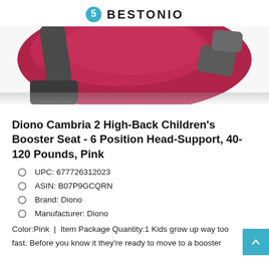BESTONIO
[Figure (photo): Close-up photo of a pink/magenta Diono Cambria 2 high-back booster car seat, showing the top and side fabric with gray straps, on a white background.]
Diono Cambria 2 High-Back Children's Booster Seat - 6 Position Head-Support, 40-120 Pounds, Pink
UPC: 677726312023
ASIN: B07P9GCQRN
Brand: Diono
Manufacturer: Diono
Color:Pink | Item Package Quantity:1 Kids grow up way too fast. Before you know it they're ready to move to a booster